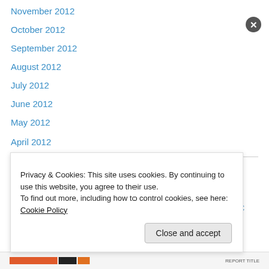November 2012
October 2012
September 2012
August 2012
July 2012
June 2012
May 2012
April 2012
Categories
Academic Standards
Academic Standards Are in Public Domain: We Don't Need CC
Privacy & Cookies: This site uses cookies. By continuing to use this website, you agree to their use.
To find out more, including how to control cookies, see here: Cookie Policy
Close and accept